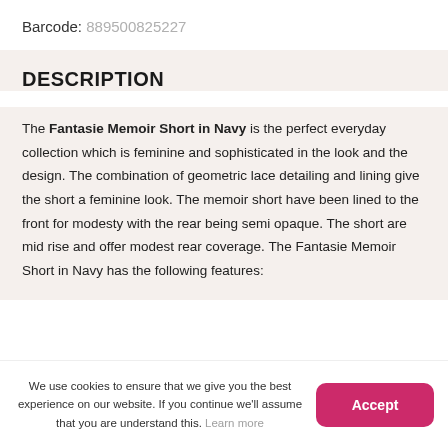Barcode: 889500825227
DESCRIPTION
The Fantasie Memoir Short in Navy is the perfect everyday collection which is feminine and sophisticated in the look and the design. The combination of geometric lace detailing and lining give the short a feminine look. The memoir short have been lined to the front for modesty with the rear being semi opaque. The short are mid rise and offer modest rear coverage. The Fantasie Memoir Short in Navy has the following features:
We use cookies to ensure that we give you the best experience on our website. If you continue we'll assume that you are understand this. Learn more